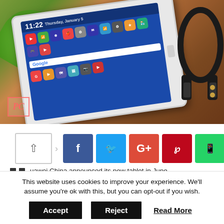[Figure (photo): Huawei tablet showing Android home screen with apps, placed on a wooden surface with green leaves and headphones in background. PC logo watermark visible bottom-left.]
[Figure (infographic): Social share buttons row: generic share icon, Facebook (f), Twitter (bird), Google+ (G+), Pinterest (P), WhatsApp (phone icon)]
uawei China announced its new tablet in June 2017...
This website uses cookies to improve your experience. We'll assume you're ok with this, but you can opt-out if you wish.
Accept   Reject   Read More